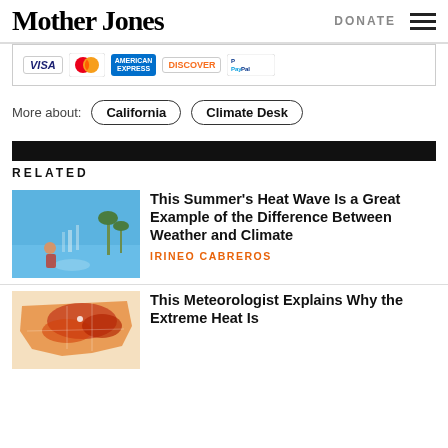Mother Jones | DONATE
[Figure (other): Payment method icons: Visa, MasterCard, American Express, Discover, PayPal]
More about: California | Climate Desk
RELATED
[Figure (photo): Child playing in water fountain on a hot summer day]
This Summer's Heat Wave Is a Great Example of the Difference Between Weather and Climate
IRINEO CABREROS
[Figure (map): US map showing extreme heat zones highlighted in orange and red]
This Meteorologist Explains Why the Extreme Heat Is